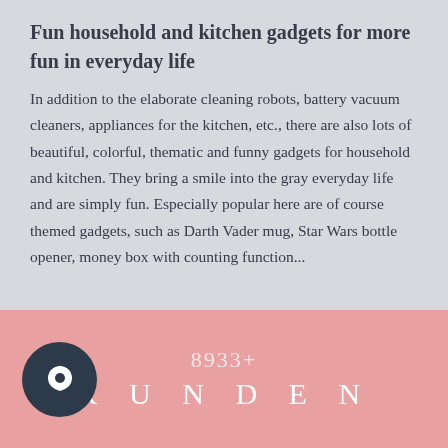Fun household and kitchen gadgets for more fun in everyday life
In addition to the elaborate cleaning robots, battery vacuum cleaners, appliances for the kitchen, etc., there are also lots of beautiful, colorful, thematic and funny gadgets for household and kitchen. They bring a smile into the gray everyday life and are simply fun. Especially popular here are of course themed gadgets, such as Darth Vader mug, Star Wars bottle opener, money box with counting function...
8933+
KUNDEN